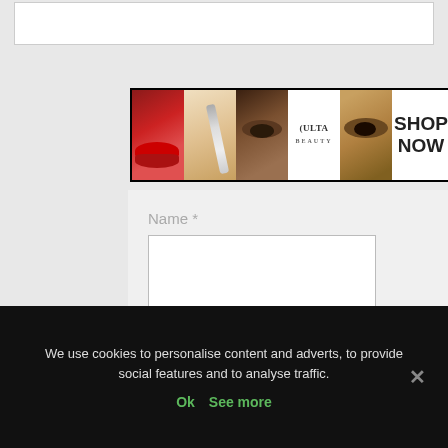[Figure (advertisement): ULTA Beauty advertisement banner with makeup images (lips, brush, eye, ULTA logo, eye closeup) and SHOP NOW button]
[Figure (screenshot): Web form with Name and Email fields on light gray background, with a CLOSE button]
[Figure (advertisement): Seamless food delivery advertisement with pizza image, seamless logo in red, and ORDER NOW button]
We use cookies to personalise content and adverts, to provide social features and to analyse traffic.
Ok  See more